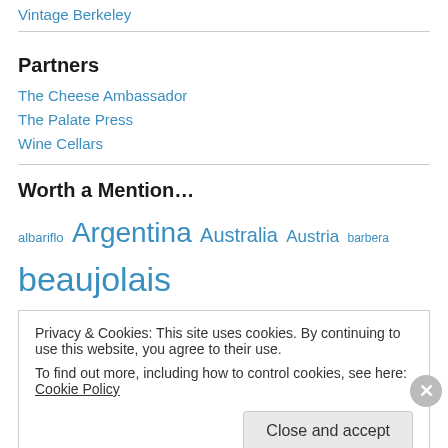Vintage Berkeley
Partners
The Cheese Ambassador
The Palate Press
Wine Cellars
Worth a Mention…
albariflo Argentina Australia Austria barbera beaujolais
Privacy & Cookies: This site uses cookies. By continuing to use this website, you agree to their use.
To find out more, including how to control cookies, see here: Cookie Policy